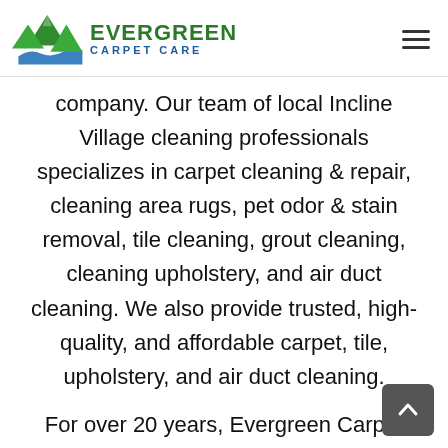[Figure (logo): Evergreen Carpet Care logo with green tree/mountain SVG icon and company name in green and blue]
company. Our team of local Incline Village cleaning professionals specializes in carpet cleaning & repair, cleaning area rugs, pet odor & stain removal, tile cleaning, grout cleaning, cleaning upholstery, and air duct cleaning. We also provide trusted, high-quality, and affordable carpet, tile, upholstery, and air duct cleaning.
For over 20 years, Evergreen Carpet Care has been providing